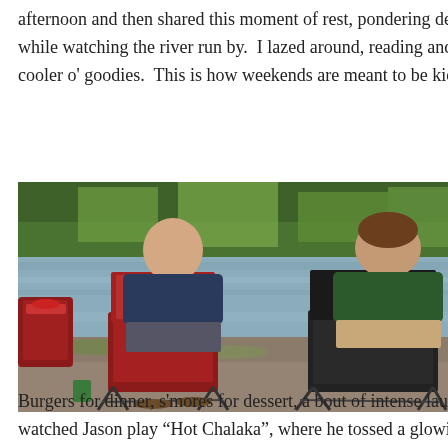afternoon and then shared this moment of rest, pondering deep while watching the river run by.  I lazed around, reading and digging into the cooler o' goodies.  This is how weekends are meant to be kicked off.
[Figure (photo): Two men seen from behind, sitting in folding camp chairs by a river with green trees in the background. The left person is bald wearing a navy shirt seated in a red chair; the right person has brown hair wearing a green t-shirt in a dark chair. A red cooler bag is visible on the left.]
Burgers for dinner, s'mores for dessert, a bout of intense laughter as we watched Jason play "Hot Chalaka", where he tossed a glowing...